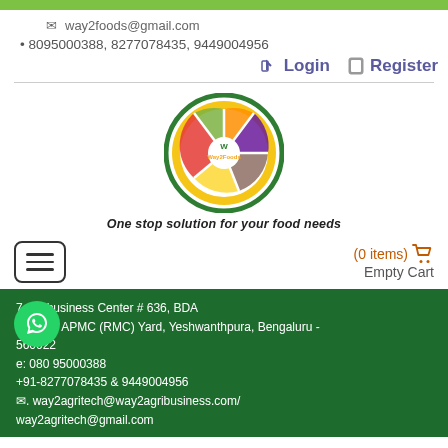way2foods@gmail.com | 8095000388, 8277078435, 9449004956
Login  Register
[Figure (logo): Way2Foods circular logo with food images segmented like a pie, surrounded by a green and yellow border, with W in center and 'Way2Foods' text]
One stop solution for your food needs
(0 items)  Empty Cart
7 Agribusiness Center # 636, BDA Block 2, APMC (RMC) Yard, Yeshwanthpura, Bengaluru - 560022 | Phone: 080 95000388 | +91-8277078435 & 9449004956 | Email: way2agritech@way2agribusiness.com/ | way2agritech@gmail.com